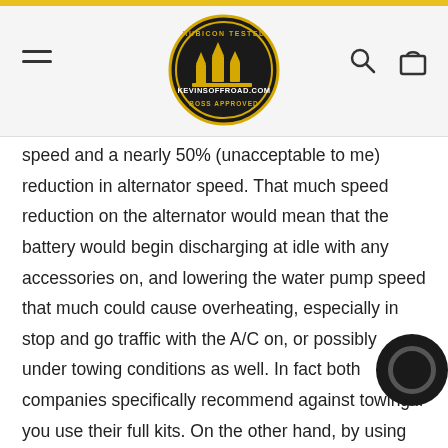KevinsOffRoad.com
speed and a nearly 50% (unacceptable to me) reduction in alternator speed. That much speed reduction on the alternator would mean that the battery would begin discharging at idle with any accessories on, and lowering the water pump speed that much could cause overheating, especially in stop and go traffic with the A/C on, or possibly under towing conditions as well. In fact both companies specifically recommend against towing if you use their full kits. On the other hand, by using ONLY the crank pulley from either of their kits, you would end up with a true under drive for ALL accessories of only 23% or 25% for the March and Jet pulleys respectively, figures which are